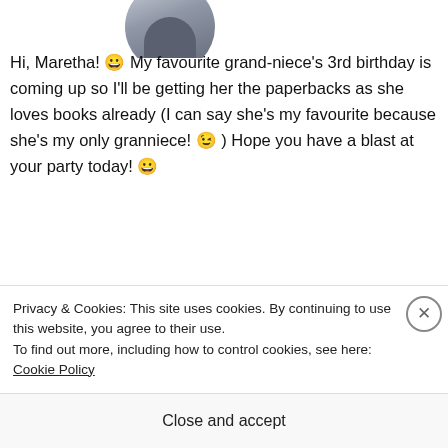[Figure (photo): Circular avatar photo of a person, partially cropped at top of page]
Hi, Maretha! 😀 My favourite grand-niece's 3rd birthday is coming up so I'll be getting her the paperbacks as she loves books already (I can say she's my favourite because she's my only granniece! 😉 ) Hope you have a blast at your party today! 😀
★ Liked by 1 person
REPLY
[Figure (photo): Second avatar photo partially visible at bottom of page]
Privacy & Cookies: This site uses cookies. By continuing to use this website, you agree to their use.
To find out more, including how to control cookies, see here: Cookie Policy
Close and accept